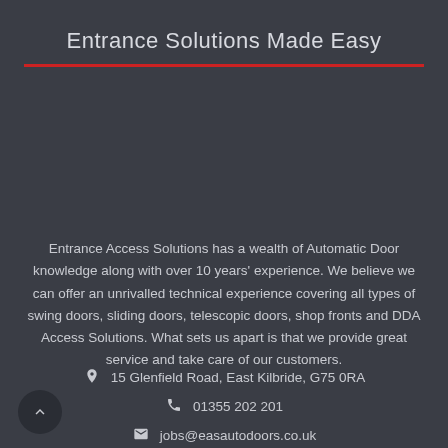Entrance Solutions Made Easy
Entrance Access Solutions has a wealth of Automatic Door knowledge along with over 10 years' experience. We believe we can offer an unrivalled technical experience covering all types of swing doors, sliding doors, telescopic doors, shop fronts and DDA Access Solutions. What sets us apart is that we provide great service and take care of our customers.
15 Glenfield Road, East Kilbride, G75 0RA
01355 202 201
jobs@easautodoors.co.uk